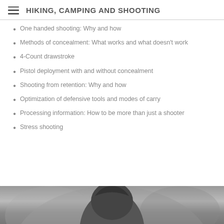HIKING, CAMPING AND SHOOTING
One handed shooting: Why and how
Methods of concealment: What works and what doesn't work
4-Count drawstroke
Pistol deployment with and without concealment
Shooting from retention: Why and how
Optimization of defensive tools and modes of carry
Processing information: How to be more than just a shooter
Stress shooting
[Figure (photo): Black and white photo of a person's head from behind, showing braided hair]